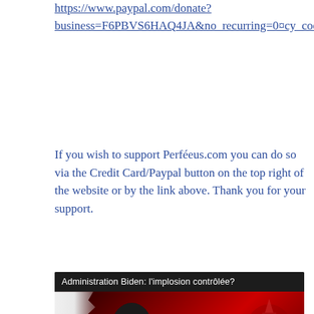https://www.paypal.com/donate?business=F6PBVS6HAQ4JA&no_recurring=0&currency_code=CAD
If you wish to support Perféeus.com you can do so via the Credit Card/Paypal button on the top right of the website or by the link above. Thank you for your support.
[Figure (screenshot): YouTube video thumbnail for 'Administration Biden: l'implosion contrôlée?' showing a man bowing his head against a red and dark background with torn paper effect. Large text reads 'IMPLOSION CONTRÔLÉE' with a play button overlay.]